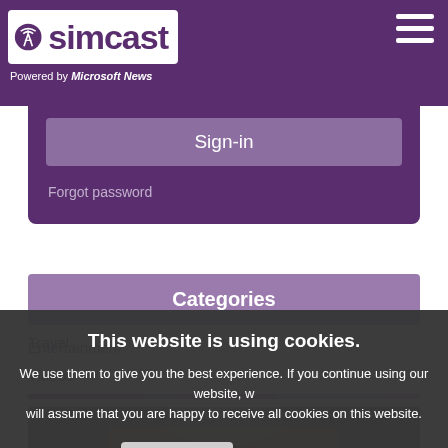simcast — Powered by Microsoft News
Sign-in
Forgot password
Categories
Entertainment
This website is using cookies. We use them to give you the best experience. If you continue using our website, we will assume that you are happy to receive all cookies on this website.
Travel
Videos
[Figure (photo): Partial photo strip at bottom of page]